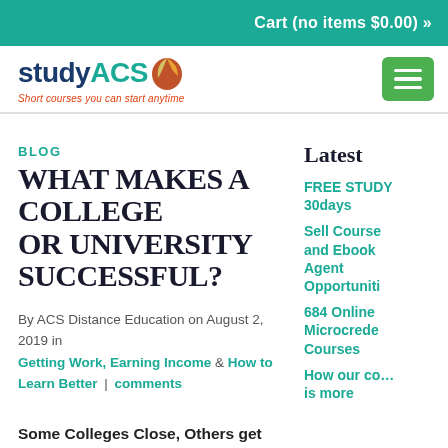Cart (no items  $0.00) »
[Figure (logo): studyACS logo with leaf/circle icon and tagline 'Short courses you can start anytime']
BLOG
WHAT MAKES A COLLEGE OR UNIVERSITY SUCCESSFUL?
By ACS Distance Education on August 2, 2019 in Getting Work, Earning Income & How to Learn Better | comments
Some Colleges Close, Others get Stronger. Why?
Latest
FREE STUDY 30days
Sell Courses and Ebooks Agent Opportunit…
684 Online Microcrede… Courses
How our co… is more